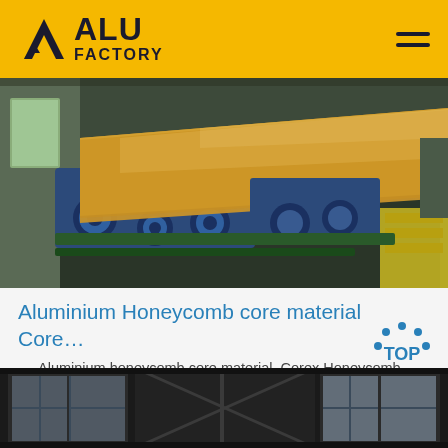ALU FACTORY
[Figure (photo): Factory machinery processing aluminium honeycomb core material sheets on a production line. Shows industrial rollers and copper/gold colored sheet material.]
Aluminium Honeycomb core material Core…
Aluminium honeycomb core material. Corex Honeycomb …
Get Price
[Figure (photo): Bottom portion of industrial factory interior showing large windows and structural beams.]